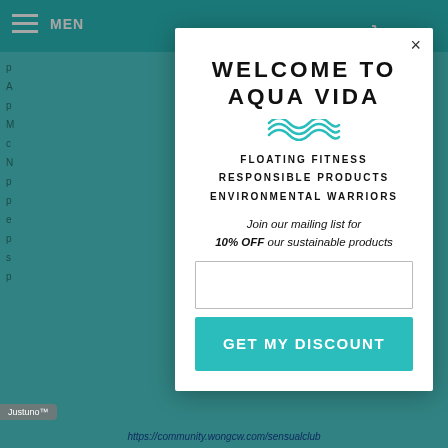MENU  [cart] 0
[Figure (screenshot): Website background with teal navigation bar and partial page content visible behind a modal popup]
WELCOME TO AQUA VIDA
FLOATING FITNESS
RESPONSIBLE PRODUCTS
ENVIRONMENTAL WARRIORS
Join our mailing list for 10% OFF our sustainable products
GET MY DISCOUNT
https://community.wongcw.com/sensualclub